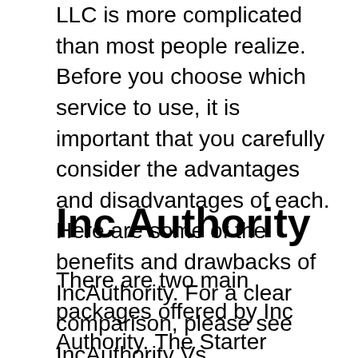LLC is more complicated than most people realize. Before you choose which service to use, it is important that you carefully consider the advantages and disadvantages of each. Here are some of the benefits and drawbacks of IncAuthority. For a clear comparison, please see IncAuthority Vs. Legalzoom.
Inc Authority
There are two main packages offered by Inc Authority. The Starter package includes unlimited email support and phone support from an Inc Success Advisor. The Executive package offers up to $150,000 in credit lines, unsecured startup loans, and lawsuit defense. Depending on the package you